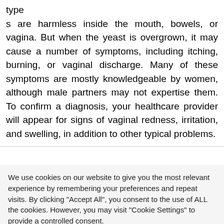type
s are harmless inside the mouth, bowels, or vagina. But when the yeast is overgrown, it may cause a number of symptoms, including itching, burning, or vaginal discharge. Many of these symptoms are mostly knowledgeable by women, although male partners may not expertise them. To confirm a diagnosis, your healthcare provider will appear for signs of vaginal redness, irritation, and swelling, in addition to other typical problems.
We use cookies on our website to give you the most relevant experience by remembering your preferences and repeat visits. By clicking "Accept All", you consent to the use of ALL the cookies. However, you may visit "Cookie Settings" to provide a controlled consent.